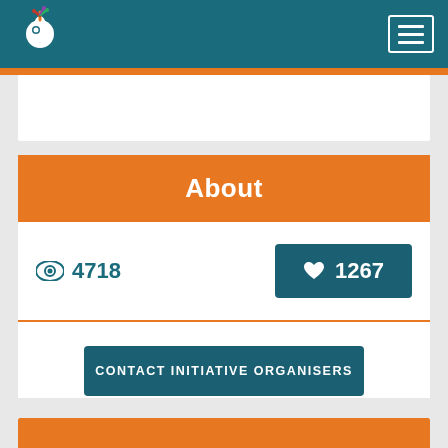[Figure (logo): Colorful hand/OK sign logo with decorative elements on teal background header]
4718 views
♥ 1267
About
CONTACT INITIATIVE ORGANISERS